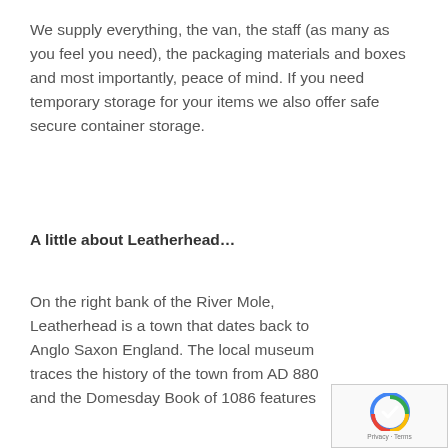We supply everything, the van, the staff (as many as you feel you need), the packaging materials and boxes and most importantly, peace of mind. If you need temporary storage for your items we also offer safe secure container storage.
A little about Leatherhead…
On the right bank of the River Mole, Leatherhead is a town that dates back to Anglo Saxon England. The local museum traces the history of the town from AD 880 and the Domesday Book of 1086 features